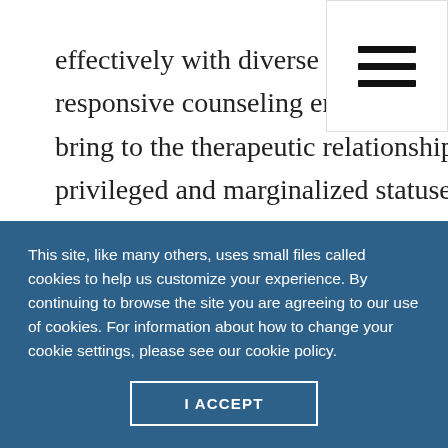effectively with diverse clients and to providing culturally responsive counseling environments. Counselors and clients both bring to the therapeutic relationship a constellation of identities, privileged and marginalized statuses, and cultural values, beliefs and biases to which counselors need to attend. Furthermore, clients increasingly bring to counseling issues of inequity that lead to unhealthy risk factors.
[Figure (other): Hamburger menu icon — three horizontal black bars stacked vertically in a white box at top right corner]
This site, like many others, uses small files called cookies to help us customize your experience. By continuing to browse the site you are agreeing to our use of cookies. For information about how to change your cookie settings, please see our cookie policy.
I ACCEPT